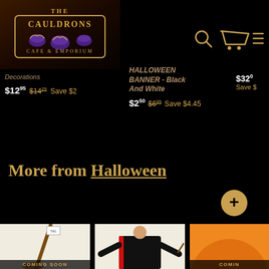[Figure (logo): The Cauldrons Cafe & Emporium logo with cauldrons icon on dark background]
[Figure (other): Navigation icons: search, cart, and hamburger menu in gold on black]
Decorations
$12.95  $14.25  Save $2
HALLOWEEN BANNER - Black And White
$2.50  $6.95  Save $4.45
$32.  Save $
More from Halloween
[Figure (photo): Broom costume prop on white background with COMING SOON label]
[Figure (photo): Child in Harry Potter Gryffindor robe with wand]
[Figure (photo): Orange pumpkin partially visible, COMING SOON label]